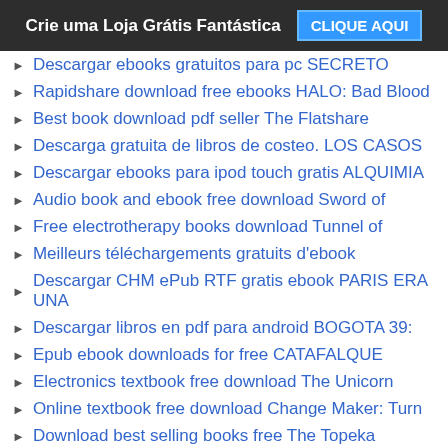Crie uma Loja Grátis Fantástica  CLIQUE AQUI
Descargar ebooks gratuitos para pc SECRETO
Rapidshare download free ebooks HALO: Bad Blood
Best book download pdf seller The Flatshare
Descarga gratuita de libros de costeo. LOS CASOS
Descargar ebooks para ipod touch gratis ALQUIMIA
Audio book and ebook free download Sword of
Free electrotherapy books download Tunnel of
Meilleurs téléchargements gratuits d'ebook
Descargar CHM ePub RTF gratis ebook PARIS ERA UNA
Descargar libros en pdf para android BOGOTA 39:
Epub ebook downloads for free CATAFALQUE
Electronics textbook free download The Unicorn
Online textbook free download Change Maker: Turn
Download best selling books free The Topeka